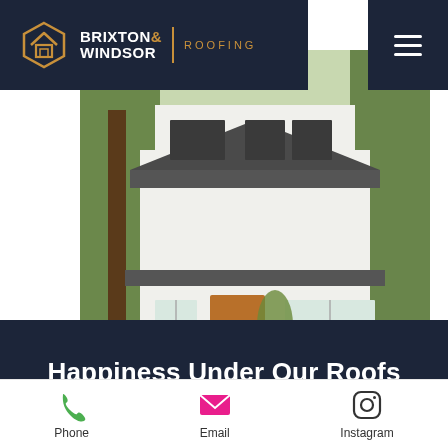[Figure (logo): Brixton & Windsor Roofing logo with hexagon house icon in orange/gold, white text on dark navy background, with hamburger menu icon]
[Figure (photo): Modern white farmhouse with dark metal standing-seam roof, wooden front door, large windows, green lawn and trees in background]
Happiness Under Our Roofs
[Figure (infographic): Footer contact bar with Phone (green phone icon), Email (pink envelope icon), and Instagram (black Instagram icon) contact options]